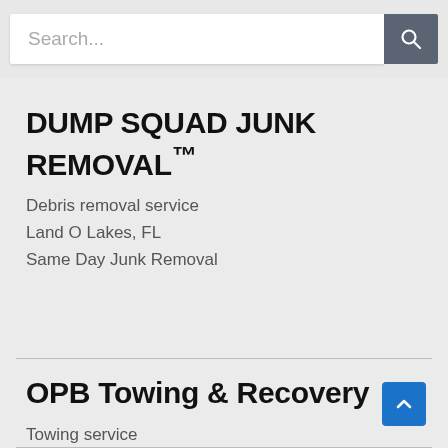[Figure (screenshot): Search bar with text input field showing placeholder 'Search...' and a dark gray search button with magnifying glass icon]
DUMP SQUAD JUNK REMOVAL™
Debris removal service
Land O Lakes, FL
Same Day Junk Removal
OPB Towing & Recovery
Towing service
Oak Park, MI
Towing That